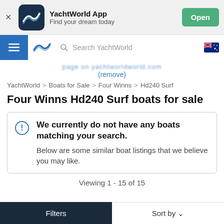[Figure (screenshot): YachtWorld App banner with logo, 'Find your dream today' text and green Open button]
[Figure (screenshot): YachtWorld navigation bar with hamburger menu, logo, search field, and Australian flag]
page on yachtworldworld.com
(remove)
YachtWorld > Boats for Sale > Four Winns > Hd240 Surf
Four Winns Hd240 Surf boats for sale
We currently do not have any boats matching your search. Below are some similar boat listings that we believe you may like.
Viewing 1 - 15 of 15
Filters
Sort by